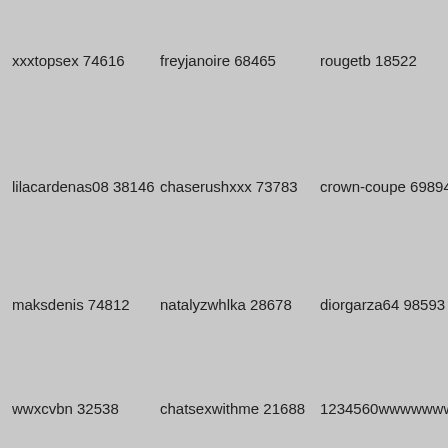xxxtopsex 74616
freyjanoire 68465
rougetb 18522
lilacardenas08 38146
chaserushxxx 73783
crown-coupe 69894
maksdenis 74812
natalyzwhlka 28678
diorgarza64 98593
wwxcvbn 32538
chatsexwithme 21688
1234560wwwwwwwww